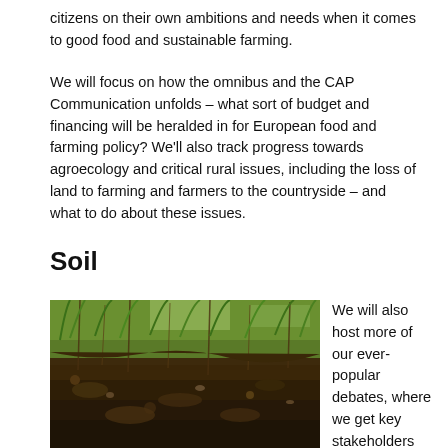citizens on their own ambitions and needs when it comes to good food and sustainable farming.
We will focus on how the omnibus and the CAP Communication unfolds – what sort of budget and financing will be heralded in for European food and farming policy? We'll also track progress towards agroecology and critical rural issues, including the loss of land to farming and farmers to the countryside –  and what to do about these issues.
Soil
[Figure (photo): Close-up photograph of soil and plant roots, showing dark earth with green vegetation and roots at the top]
We will also host more of our ever-popular debates, where we get key stakeholders